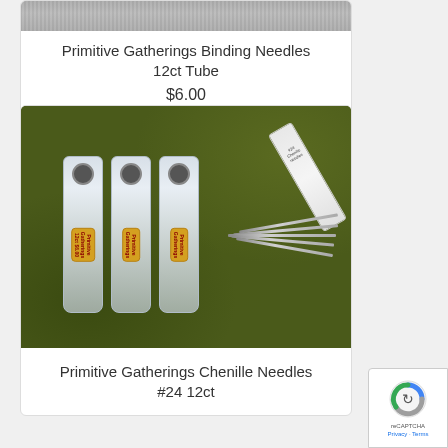[Figure (photo): Product image of Primitive Gatherings Binding Needles 12ct Tube (partially visible at top)]
Primitive Gatherings Binding Needles 12ct Tube
$6.00
[Figure (photo): Photo of three clear plastic tubes labeled Primitive Gatherings with needles displayed beside an open tube on a dark green grass background]
Primitive Gatherings Chenille Needles #24 12ct
[Figure (logo): reCAPTCHA badge with Privacy and Terms links]